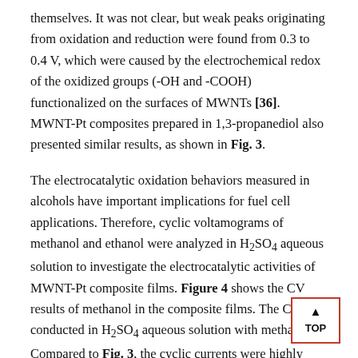themselves. It was not clear, but weak peaks originating from oxidation and reduction were found from 0.3 to 0.4 V, which were caused by the electrochemical redox of the oxidized groups (-OH and -COOH) functionalized on the surfaces of MWNTs [36]. MWNT-Pt composites prepared in 1,3-propanediol also presented similar results, as shown in Fig. 3.
The electrocatalytic oxidation behaviors measured in alcohols have important implications for fuel cell applications. Therefore, cyclic voltamograms of methanol and ethanol were analyzed in H2SO4 aqueous solution to investigate the electrocatalytic activities of MWNT-Pt composite films. Figure 4 shows the CV results of methanol in the composite films. The CV was conducted in H2SO4 aqueous solution with methanol. Compared to Fig. 3, the cyclic currents were highly improved, and distinct oxidation peaks were identified in